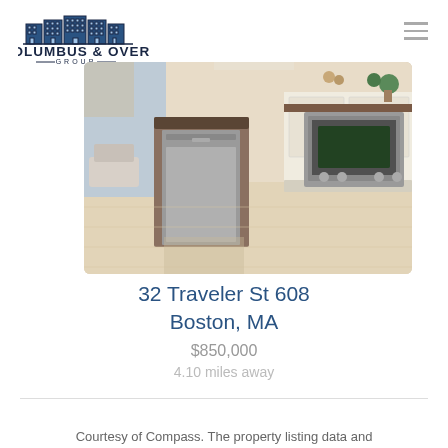[Figure (logo): Columbus & Over Group real estate agency logo with building illustration]
[Figure (photo): Interior kitchen photo of property at 32 Traveler St 608, Boston MA, showing stainless steel appliances, kitchen island, and light hardwood floors]
32 Traveler St 608
Boston, MA
$850,000
4.10 miles away
Courtesy of Compass. The property listing data and